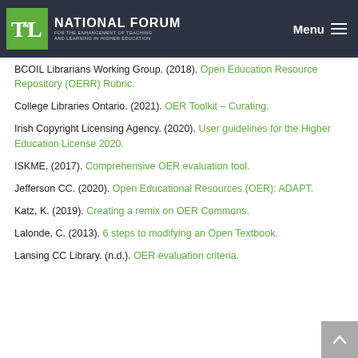NATIONAL FORUM FOR THE ENHANCEMENT OF TEACHING AND LEARNING IN HIGHER EDUCATION — Menu
BCOIL Librarians Working Group. (2018). Open Education Resource Repository (OERR) Rubric.
College Libraries Ontario. (2021). OER Toolkit – Curating.
Irish Copyright Licensing Agency. (2020). User guidelines for the Higher Education License 2020.
ISKME. (2017). Comprehensive OER evaluation tool.
Jefferson CC. (2020). Open Educational Resources (OER): ADAPT.
Katz, K. (2019). Creating a remix on OER Commons.
Lalonde, C. (2013). 6 steps to modifying an Open Textbook.
Lansing CC Library. (n.d.). OER evaluation criteria.